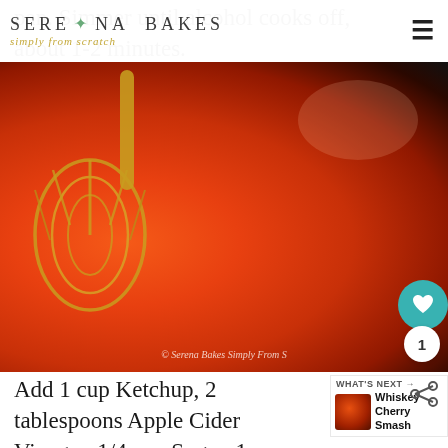SERENA BAKES simply from scratch
pan. Simmer until alcohol cooks off, about 1-2 minutes.
[Figure (photo): A whisk stirring bright red tomato-based barbecue sauce in a dark pan, with watermark '© Serena Bakes Simply From S']
Add 1 cup Ketchup, 2 tablespoons Apple Cider Vinegar, 1/4 cup Sugar, 1 teaspoon Smoked Paprika,